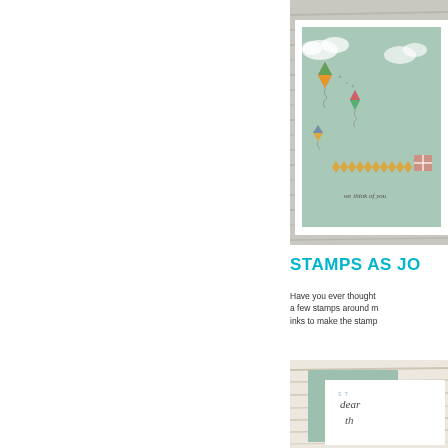[Figure (photo): Handmade greeting card with kites flying on a light teal background, with chevron pattern and 'we think of you' sentiment, photographed on a wooden background]
STAMPS AS JO
Have you ever thought a few stamps around m inks to make the stamp
[Figure (photo): Close-up of a handmade card interior on a weathered white wood background, showing 'dear' and partial text in script handwriting on mint green and white panels]